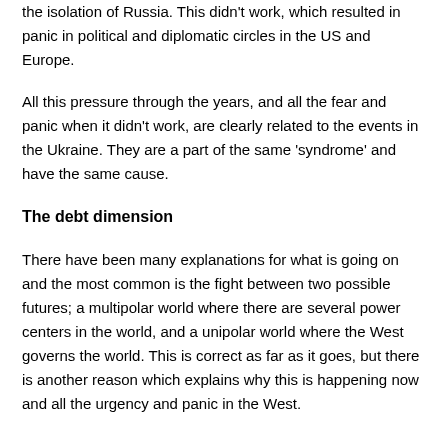the isolation of Russia. This didn't work, which resulted in panic in political and diplomatic circles in the US and Europe.
All this pressure through the years, and all the fear and panic when it didn't work, are clearly related to the events in the Ukraine. They are a part of the same 'syndrome' and have the same cause.
The debt dimension
There have been many explanations for what is going on and the most common is the fight between two possible futures; a multipolar world where there are several power centers in the world, and a unipolar world where the West governs the world. This is correct as far as it goes, but there is another reason which explains why this is happening now and all the urgency and panic in the West.